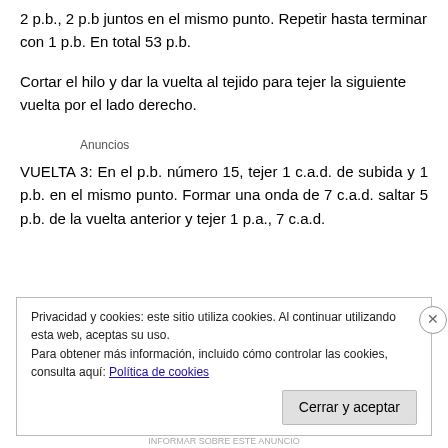2 p.b., 2 p.b juntos en el mismo punto. Repetir hasta terminar con 1 p.b. En total 53 p.b.
Cortar el hilo y dar la vuelta al tejido para tejer la siguiente vuelta por el lado derecho.
Anuncios
VUELTA 3: En el p.b. número 15, tejer 1 c.a.d. de subida y 1 p.b. en el mismo punto. Formar una onda de 7 c.a.d. saltar 5 p.b. de la vuelta anterior y tejer 1 p.a., 7 c.a.d.
Privacidad y cookies: este sitio utiliza cookies. Al continuar utilizando esta web, aceptas su uso.
Para obtener más información, incluido cómo controlar las cookies, consulta aquí: Política de cookies
Cerrar y aceptar